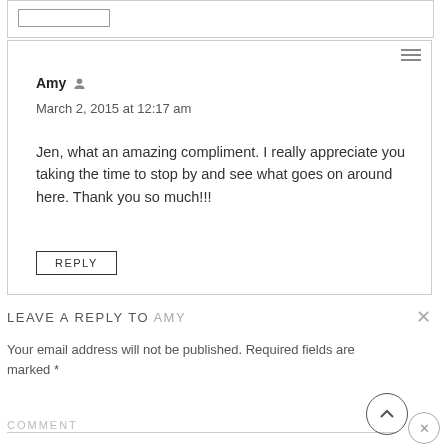Amy — March 2, 2015 at 12:17 am
Jen, what an amazing compliment. I really appreciate you taking the time to stop by and see what goes on around here. Thank you so much!!!
REPLY
LEAVE A REPLY TO AMY
Your email address will not be published. Required fields are marked *
COMMENT